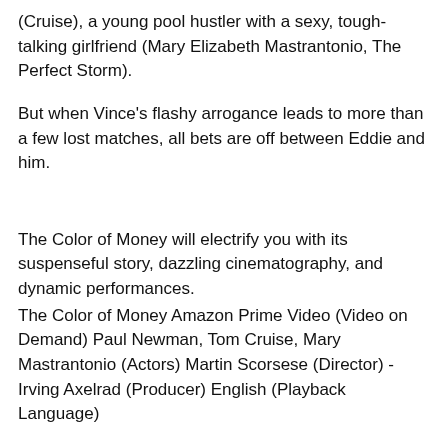(Cruise), a young pool hustler with a sexy, tough-talking girlfriend (Mary Elizabeth Mastrantonio, The Perfect Storm).
But when Vince's flashy arrogance leads to more than a few lost matches, all bets are off between Eddie and him.
The Color of Money will electrify you with its suspenseful story, dazzling cinematography, and dynamic performances.
The Color of Money Amazon Prime Video (Video on Demand) Paul Newman, Tom Cruise, Mary Mastrantonio (Actors) Martin Scorsese (Director) - Irving Axelrad (Producer) English (Playback Language)